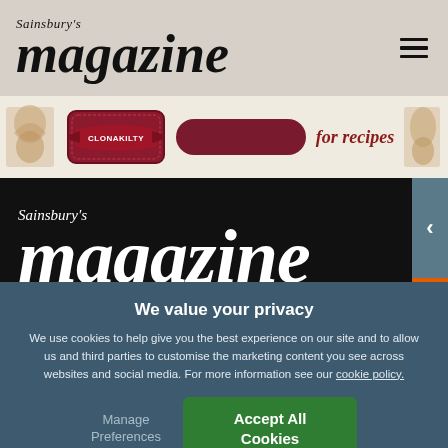Sainsbury's magazine
[Figure (illustration): Clonakilty brand advertisement banner with logo badge and 'for recipes' text]
[Figure (logo): Sainsbury's magazine large white logo on black background]
We value your privacy
We use cookies to help give you the best experience on our site and to allow us and third parties to customise the marketing content you see across websites and social media. For more information see our cookie policy.
Manage Preferences
Accept All Cookies